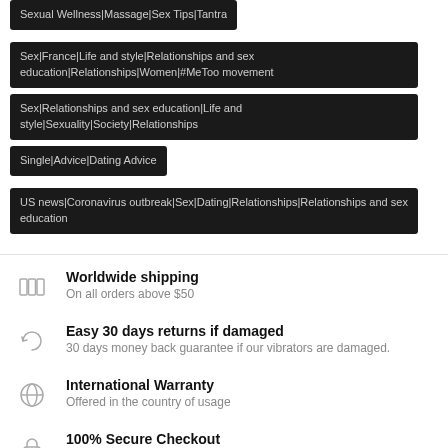Sexual Wellness|Massage|Sex Tips|Tantra
Sex|France|Life and style|Relationships and sex education|Relationships|Women|#MeToo movement
Sex|Relationships and sex education|Life and style|Sexuality|Society|Relationships
Single|Advice|Dating Advice
US news|Coronavirus outbreak|Sex|Dating|Relationships|Relationships and sex education
Worldwide shipping
On all orders above $50
Easy 30 days returns if damaged
30 days money back guarantee if our vibrators are damaged.
International Warranty
Offered in the country of usage
100% Secure Checkout
PayPal / MasterCard / Visa